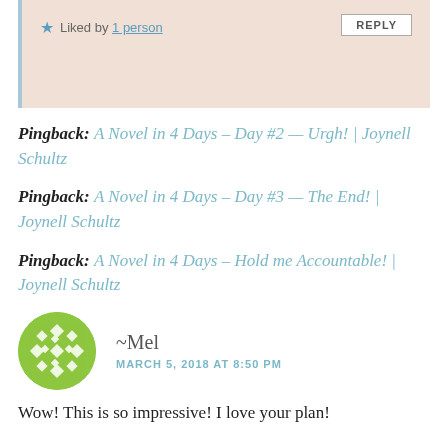Liked by 1 person   REPLY
Pingback: A Novel in 4 Days – Day #2 — Urgh! | Joynell Schultz
Pingback: A Novel in 4 Days – Day #3 — The End! | Joynell Schultz
Pingback: A Novel in 4 Days – Hold me Accountable! | Joynell Schultz
~Mel
MARCH 5, 2018 AT 8:50 PM
Wow! This is so impressive! I love your plan!